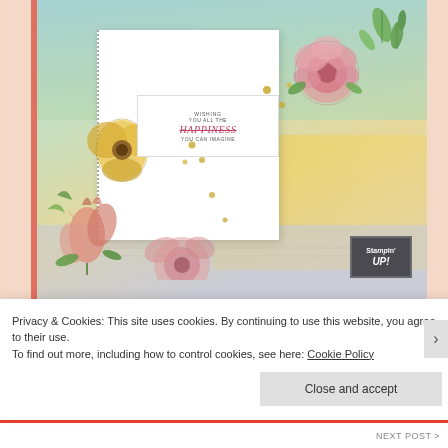[Figure (photo): Stampin' Up! catalog page showing a handmade greeting card with pink and yellow watercolor flowers, green leaves, and a white sentiment card reading 'wishing you all the happiness you can imagine'. The card sits on a layered yellow and watercolor background. A Stampin' Up! logo appears in the bottom right corner.]
Privacy & Cookies: This site uses cookies. By continuing to use this website, you agree to their use.
To find out more, including how to control cookies, see here: Cookie Policy
Close and accept